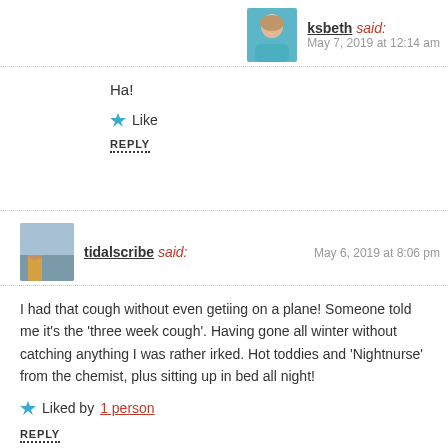ksbeth said: May 7, 2019 at 12:14 am
Ha!
Like
REPLY
tidalscribe said: May 6, 2019 at 8:06 pm
I had that cough without even getiing on a plane! Someone told me it’s the ‘three week cough’. Having gone all winter without catching anything I was rather irked. Hot toddies and ‘Nightnurse’ from the chemist, plus sitting up in bed all night!
Liked by 1 person
REPLY